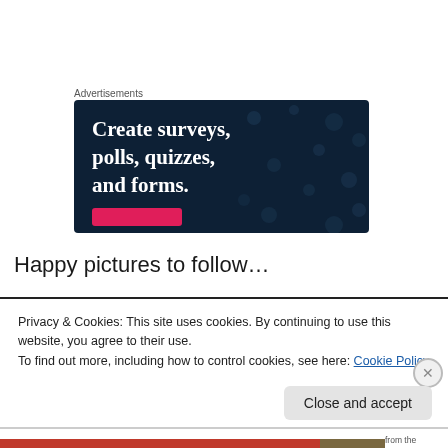Advertisements
[Figure (illustration): Dark navy blue advertisement banner with white bold serif text reading 'Create surveys, polls, quizzes, and forms.' with decorative dots in the background and a pink/red button at the bottom.]
Happy pictures to follow…
Privacy & Cookies: This site uses cookies. By continuing to use this website, you agree to their use.
To find out more, including how to control cookies, see here: Cookie Policy
Close and accept